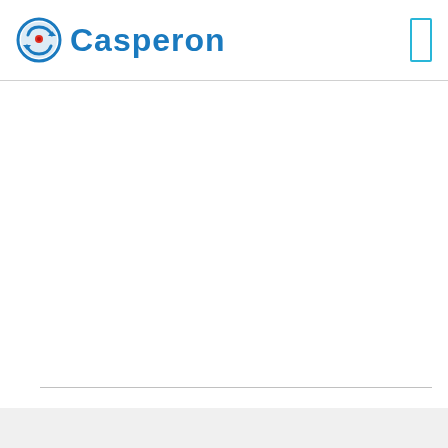[Figure (logo): Casperon company logo with circular blue and red icon on the left and 'Casperon' text in blue on the right]
[Figure (other): Small rectangular icon outline in cyan/teal on the top right of the header]